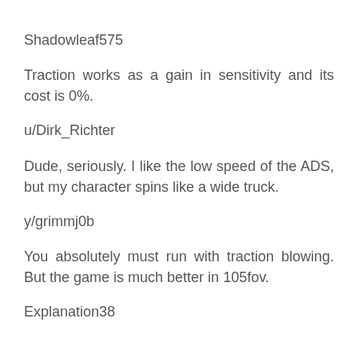Shadowleaf575
Traction works as a gain in sensitivity and its cost is 0%.
u/Dirk_Richter
Dude, seriously. I like the low speed of the ADS, but my character spins like a wide truck.
y/grimmj0b
You absolutely must run with traction blowing. But the game is much better in 105fov.
Explanation38